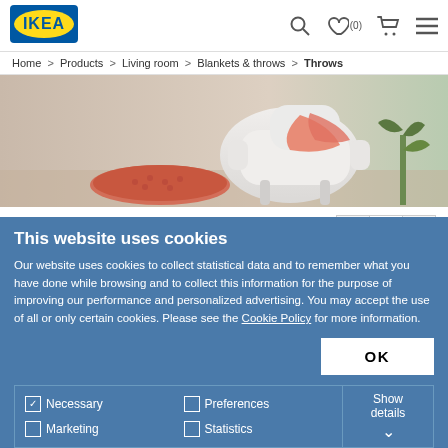[Figure (logo): IKEA logo - blue rectangle with yellow IKEA text]
Home > Products > Living room > Blankets & throws > Throws
[Figure (photo): Product photo showing throws/blankets draped over a white chair against a beige background]
Quantity: 1
This website uses cookies
Our website uses cookies to collect statistical data and to remember what you have done while browsing and to collect this information for the purpose of improving our performance and personalized advertising. You may accept the use of all or only certain cookies. Please see the Cookie Policy for more information.
OK
Necessary
Preferences
Statistics
Marketing
Show details